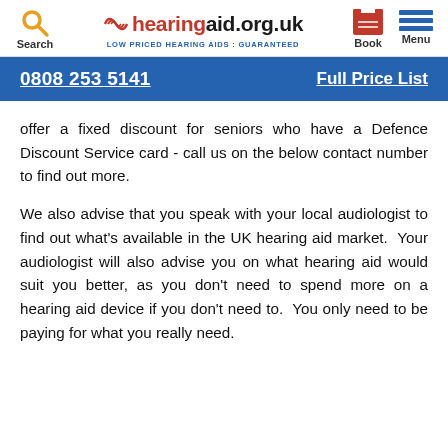hearingaid.org.uk — LOW PRICED HEARING AIDS : GUARANTEED — Search | Book | Menu
0808 253 5141    Full Price List
offer a fixed discount for seniors who have a Defence Discount Service card - call us on the below contact number to find out more.
We also advise that you speak with your local audiologist to find out what's available in the UK hearing aid market.  Your audiologist will also advise you on what hearing aid would suit you better, as you don't need to spend more on a hearing aid device if you don't need to.  You only need to be paying for what you really need.